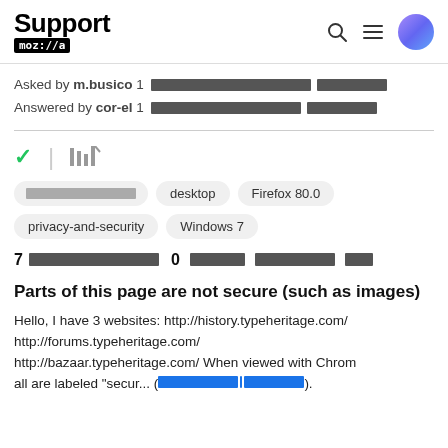Support mozilla
Asked by m.busico 1 [redacted] Answered by cor-el 1 [redacted]
[Figure (screenshot): Toolbar with checkmark and library icons]
[redacted tag] desktop Firefox 80.0 privacy-and-security Windows 7
7 [redacted] 0 [redacted]
Parts of this page are not secure (such as images)
Hello, I have 3 websites: http://history.typeheritage.com/ http://forums.typeheritage.com/ http://bazaar.typeheritage.com/ When viewed with Chrom all are labeled "secur... ([redacted link]).